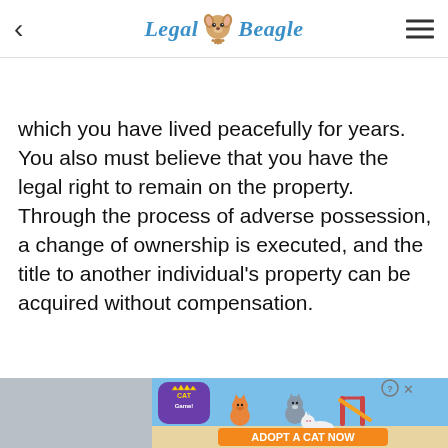Legal Beagle
which you have lived peacefully for years. You also must believe that you have the legal right to remain on the property. Through the process of adverse possession, a change of ownership is executed, and the title to another individual's property can be acquired without compensation.
[Figure (screenshot): Advertisement banner for Cat Game mobile app showing cartoon cats and 'ADOPT A CAT NOW' text]